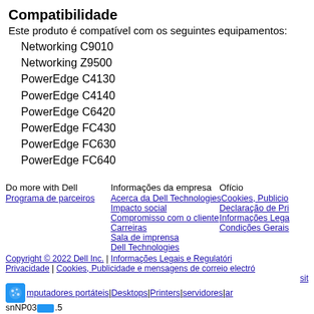Compatibilidade
Este produto é compatível com os seguintes equipamentos:
Networking C9010
Networking Z9500
PowerEdge C4130
PowerEdge C4140
PowerEdge C6420
PowerEdge FC430
PowerEdge FC630
PowerEdge FC640
Do more with Dell | Informações da empresa | Ofício | Programa de parceiros | Acerca da Dell Technologies | Cookies, Publicio... | Impacto social | Declaração de Pri... | Compromisso com o cliente | Informações Lega... | Carreiras | Condições Gerais | Sala de imprensa | Dell Technologies | Copyright © 2022 Dell Inc. | Informações Legais e Regulatóri... | Privacidade | Cookies, Publicidade e mensagens de correio electró... | sit... | mputadores portáteis | Desktops | Printers | servidores | ar... | snNP03...5